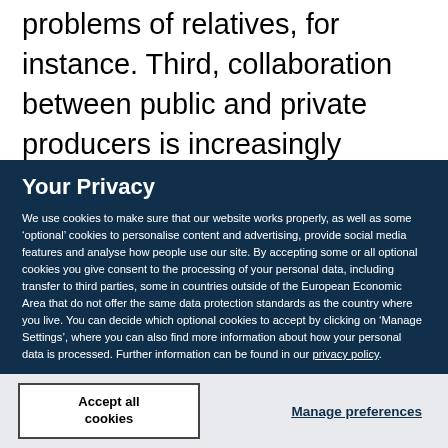problems of relatives, for instance. Third, collaboration between public and private producers is increasingly frequent in Spain, with many
Your Privacy
We use cookies to make sure that our website works properly, as well as some ‘optional’ cookies to personalise content and advertising, provide social media features and analyse how people use our site. By accepting some or all optional cookies you give consent to the processing of your personal data, including transfer to third parties, some in countries outside of the European Economic Area that do not offer the same data protection standards as the country where you live. You can decide which optional cookies to accept by clicking on ‘Manage Settings’, where you can also find more information about how your personal data is processed. Further information can be found in our privacy policy.
Accept all cookies
Manage preferences